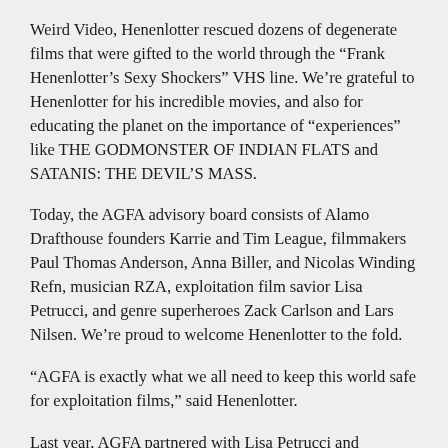Weird Video, Henenlotter rescued dozens of degenerate films that were gifted to the world through the “Frank Henenlotter’s Sexy Shockers” VHS line. We’re grateful to Henenlotter for his incredible movies, and also for educating the planet on the importance of “experiences” like THE GODMONSTER OF INDIAN FLATS and SATANIS: THE DEVIL’S MASS.
Today, the AGFA advisory board consists of Alamo Drafthouse founders Karrie and Tim League, filmmakers Paul Thomas Anderson, Anna Biller, and Nicolas Winding Refn, musician RZA, exploitation film savior Lisa Petrucci, and genre superheroes Zack Carlson and Lars Nilsen. We’re proud to welcome Henenlotter to the fold.
“AGFA is exactly what we all need to keep this world safe for exploitation films,” said Henenlotter.
Last year, AGFA partnered with Lisa Petrucci and Something Weird to begin redistributing their titles theatrically and on home video, starting with THE ZODIAC KILLER. Frank Henenlotter will play an important role in this partnership by contributing advice,